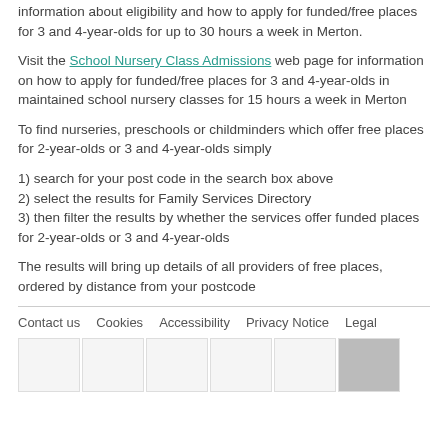information about eligibility and how to apply for funded/free places for 3 and 4-year-olds for up to 30 hours a week in Merton.
Visit the School Nursery Class Admissions web page for information on how to apply for funded/free places for 3 and 4-year-olds in maintained school nursery classes for 15 hours a week in Merton
To find nurseries, preschools or childminders which offer free places for 2-year-olds or 3 and 4-year-olds simply
1) search for your post code in the search box above
2) select the results for Family Services Directory
3) then filter the results by whether the services offer funded places for 2-year-olds or 3 and 4-year-olds
The results will bring up details of all providers of free places, ordered by distance from your postcode
Contact us   Cookies   Accessibility   Privacy Notice   Legal